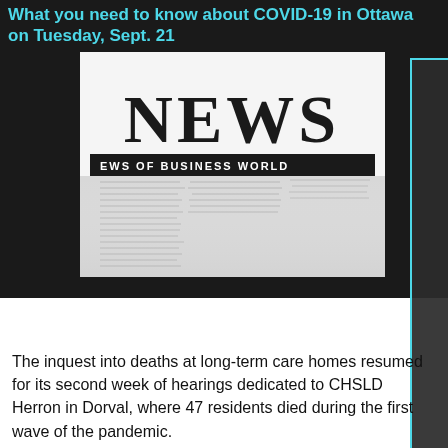What you need to know about COVID-19 in Ottawa on Tuesday, Sept. 21
[Figure (photo): Black and white photo of a newspaper with the headline NEWS and subheading NEWS OF BUSINESS WORLD, with columns of blurred text below.]
The inquest into deaths at long-term care homes resumed for its second week of hearings dedicated to CHSLD Herron in Dorval, where 47 residents died during the first wave of the pandemic.